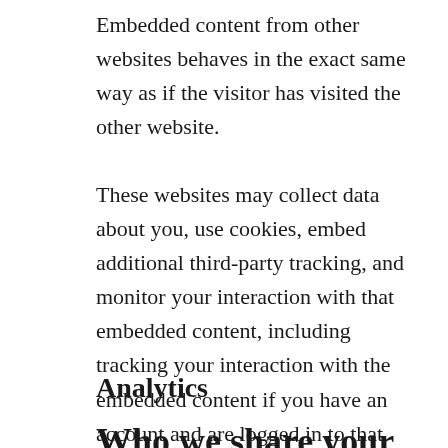Embedded content from other websites behaves in the exact same way as if the visitor has visited the other website.
These websites may collect data about you, use cookies, embed additional third-party tracking, and monitor your interaction with that embedded content, including tracking your interaction with the embedded content if you have an account and are logged in to that website.
Analytics
Who we share your data